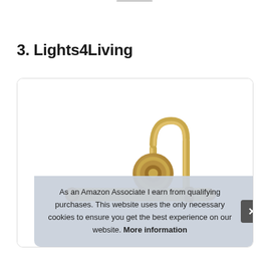3. Lights4Living
[Figure (photo): A brass/gold-colored wall-mounted picture light with a cylindrical horizontal bar, a round backplate, and a curved gooseneck arm, photographed against a white background inside a card with rounded border.]
As an Amazon Associate I earn from qualifying purchases. This website uses the only necessary cookies to ensure you get the best experience on our website. More information